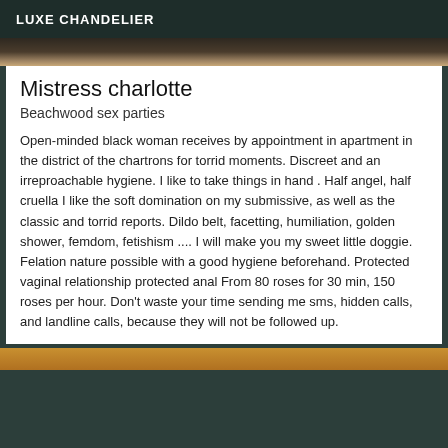LUXE CHANDELIER
[Figure (photo): Partial photo strip at top of listing card]
Mistress charlotte
Beachwood sex parties
Open-minded black woman receives by appointment in apartment in the district of the chartrons for torrid moments. Discreet and an irreproachable hygiene. I like to take things in hand . Half angel, half cruella I like the soft domination on my submissive, as well as the classic and torrid reports. Dildo belt, facetting, humiliation, golden shower, femdom, fetishism .... I will make you my sweet little doggie. Felation nature possible with a good hygiene beforehand. Protected vaginal relationship protected anal From 80 roses for 30 min, 150 roses per hour. Don't waste your time sending me sms, hidden calls, and landline calls, because they will not be followed up.
[Figure (photo): Partial photo strip at bottom of page]